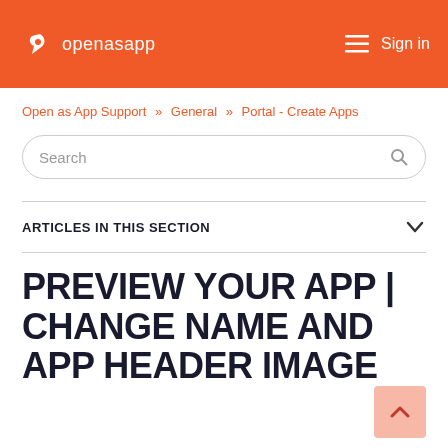openasapp   Sign in
Open as App Support » General » Portal - Create Apps
Search
ARTICLES IN THIS SECTION
PREVIEW YOUR APP | CHANGE NAME AND APP HEADER IMAGE